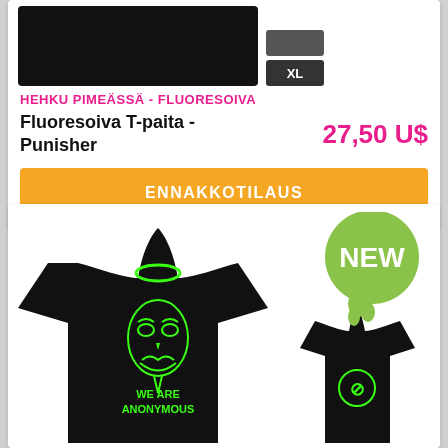[Figure (photo): Black t-shirt product image with XL size button shown]
HEHKU PIMEÄSSÄ - FLUORESOIVA
Fluoresoiva T-paita - Punisher
27,50 US
ENNAKKOTILAUS
[Figure (photo): Black t-shirt with glowing green Anonymous mask and 'WE ARE ANONYMOUS' text on front, shown with back view featuring green circle logo. NEW badge visible in top right.]